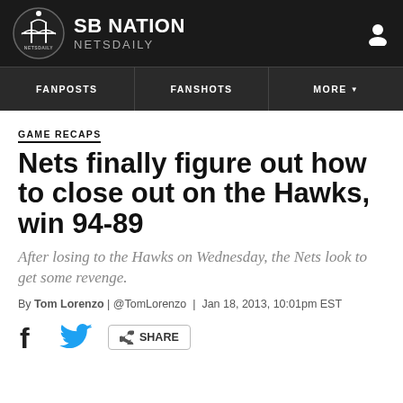SB NATION NETSDAILY
GAME RECAPS
Nets finally figure out how to close out on the Hawks, win 94-89
After losing to the Hawks on Wednesday, the Nets look to get some revenge.
By Tom Lorenzo | @TomLorenzo | Jan 18, 2013, 10:01pm EST